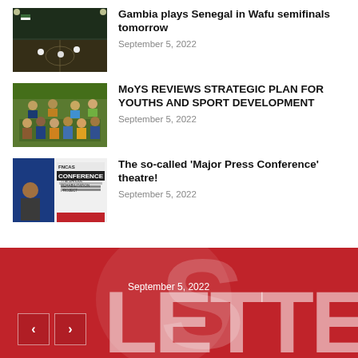Gambia plays Senegal in Wafu semifinals tomorrow
September 5, 2022
[Figure (photo): Sports match scene with flags and players on a field at night]
MoYS REVIEWS STRATEGIC PLAN FOR YOUTHS AND SPORT DEVELOPMENT
September 5, 2022
[Figure (photo): Group of people seated and standing outdoors]
The so-called 'Major Press Conference' theatre!
September 5, 2022
[Figure (photo): Press conference banner reading FNCAS CONFERENCE THE BANJUL REHABILITATION PROJECT with a person in the foreground]
[Figure (other): Red banner with large white text LETTER and September 5, 2022 date, with navigation arrows]
September 5, 2022